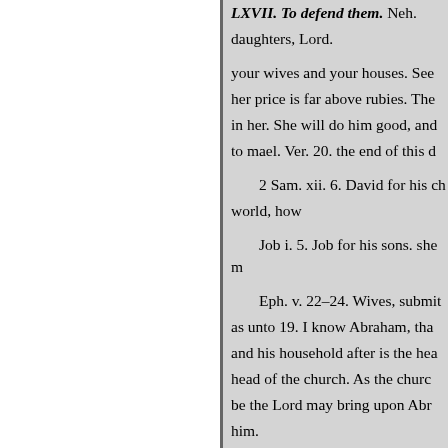LXVII. To defend them. Neh. … daughters, Lord.
your wives and your houses. See her price is far above rubies. The in her. She will do him good, and to mael. Ver. 20. the end of this d
2 Sam. xii. 6. David for his ch world, how
Job i. 5. Job for his sons. she m
Eph. v. 22–24. Wives, submit as unto 19. I know Abraham, tha and his household after is the hea head of the church. As the churc be the Lord may bring upon Abr him.
Ver. 33. Let the wife see that she
son, and of thy son's son, what th learn in silence with all subjectio usurp Deut. vi. 6, 7. These words shall be in thine lence. For Adam
gently unto thy children, and talk